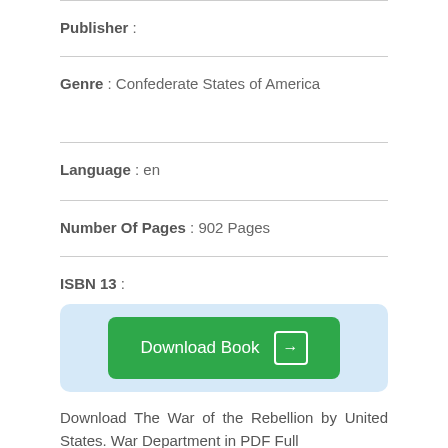Publisher :
Genre : Confederate States of America
Language : en
Number Of Pages : 902 Pages
ISBN 13 :
[Figure (other): Download Book button with green background and arrow icon inside a light blue rounded box]
Download The War of the Rebellion by United States. War Department in PDF Full